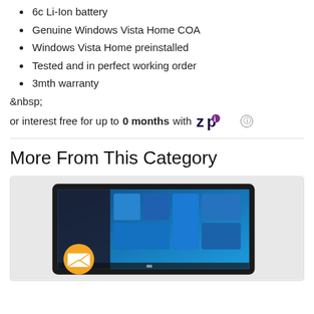6c Li-Ion battery
Genuine Windows Vista Home COA
Windows Vista Home preinstalled
Tested and in perfect working order
3mth warranty
&nbsp;
or interest free for up to 0 months with [Zip logo]
More From This Category
[Figure (photo): Screenshot of a laptop or tablet displaying Windows 10 start menu, with an orange circular email/envelope badge icon overlaid on the bottom left]